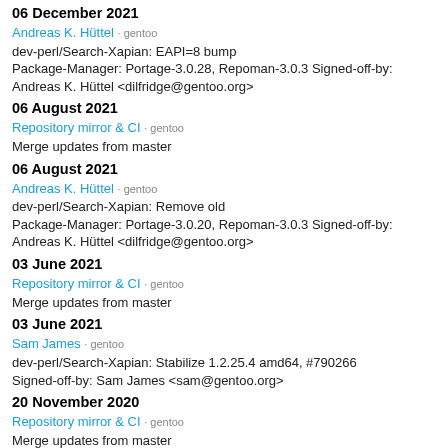06 December 2021
Andreas K. Hüttel · gentoo
dev-perl/Search-Xapian: EAPI=8 bump Package-Manager: Portage-3.0.28, Repoman-3.0.3 Signed-off-by: Andreas K. Hüttel <dilfridge@gentoo.org>
06 August 2021
Repository mirror & CI · gentoo
Merge updates from master
06 August 2021
Andreas K. Hüttel · gentoo
dev-perl/Search-Xapian: Remove old Package-Manager: Portage-3.0.20, Repoman-3.0.3 Signed-off-by: Andreas K. Hüttel <dilfridge@gentoo.org>
03 June 2021
Repository mirror & CI · gentoo
Merge updates from master
03 June 2021
Sam James · gentoo
dev-perl/Search-Xapian: Stabilize 1.2.25.4 amd64, #790266 Signed-off-by: Sam James <sam@gentoo.org>
20 November 2020
Repository mirror & CI · gentoo
Merge updates from master